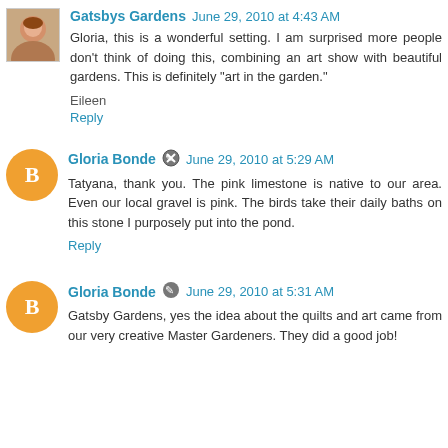Gatsbys Gardens  June 29, 2010 at 4:43 AM
Gloria, this is a wonderful setting. I am surprised more people don't think of doing this, combining an art show with beautiful gardens. This is definitely "art in the garden."
Eileen
Reply
Gloria Bonde  June 29, 2010 at 5:29 AM
Tatyana, thank you. The pink limestone is native to our area. Even our local gravel is pink. The birds take their daily baths on this stone I purposely put into the pond.
Reply
Gloria Bonde  June 29, 2010 at 5:31 AM
Gatsby Gardens, yes the idea about the quilts and art came from our very creative Master Gardeners. They did a good job!